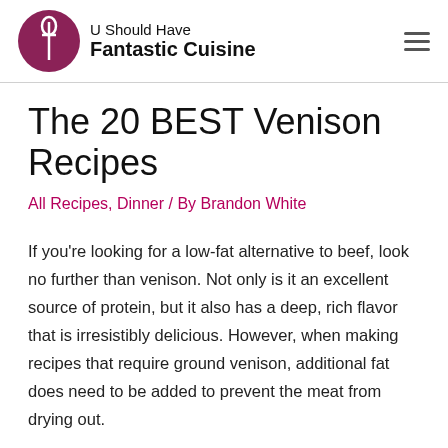U Should Have Fantastic Cuisine
The 20 BEST Venison Recipes
All Recipes, Dinner / By Brandon White
If you're looking for a low-fat alternative to beef, look no further than venison. Not only is it an excellent source of protein, but it also has a deep, rich flavor that is irresistibly delicious. However, when making recipes that require ground venison, additional fat does need to be added to prevent the meat from drying out.